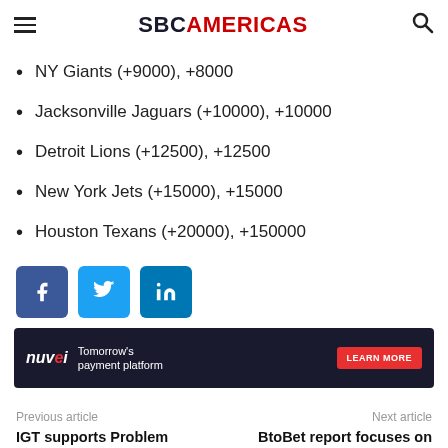SBC AMERICAS
NY Giants (+9000), +8000
Jacksonville Jaguars (+10000), +10000
Detroit Lions (+12500), +12500
New York Jets (+15000), +15000
Houston Texans (+20000), +150000
[Figure (other): Social share buttons: Facebook, Twitter, LinkedIn]
[Figure (other): Nuvei advertisement banner: Tomorrow's payment platform, LEARN MORE button]
Previous article
Next article
IGT supports Problem Gambling Awareness Month
BtoBet report focuses on newly legalized Canadian